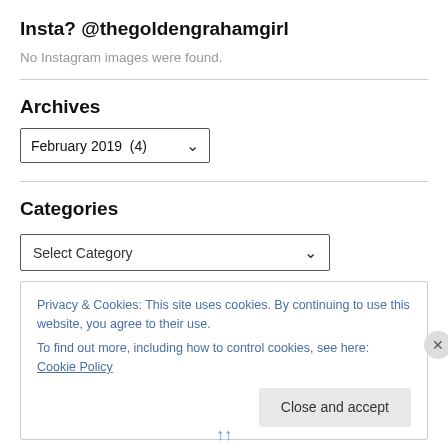Insta? @thegoldengrahamgirl
No Instagram images were found.
Archives
February 2019  (4)
Categories
Select Category
Privacy & Cookies: This site uses cookies. By continuing to use this website, you agree to their use.
To find out more, including how to control cookies, see here: Cookie Policy
Close and accept